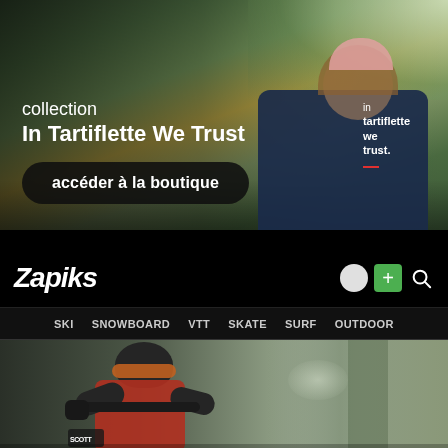[Figure (photo): Hero banner showing a man in a navy blue t-shirt with 'in tartiflette we trust' text, wearing a pink beanie, against a forest/mountain background]
collection
In Tartiflette We Trust
accéder à la boutique
[Figure (logo): Zapiks logo in white italic bold text on black background, with navigation icons (circle, green plus, search) on the right]
SKI  SNOWBOARD  VTT  SKATE  SURF  OUTDOOR
[Figure (photo): Mountain biker in full gear (helmet, goggles, red jacket) riding through a forest]